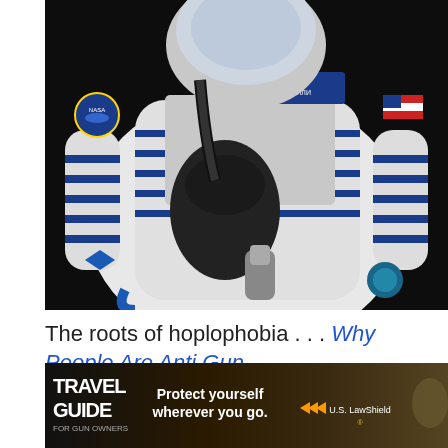[Figure (photo): Astronaut Scott Kelly in a white Russian Sokol spacesuit with blue stripes and accents, NASA patches, holding a black spacesuit glove. Name tag reads 'S. KELLY / С. КЕЛЛИ'. American flag patch visible on right sleeve.]
The roots of hoplophobia . . . Why People Are Anti Gun
[Figure (screenshot): Advertisement banner for U.S. LawShield. Left side shows 'TRAVEL GUIDE FOR GUN OWNERS' text over a dark background. Center text reads 'Protect yourself wherever you go.' with orange play button arrows. Right side shows U.S. LawShield logo and a bird/eagle image.]